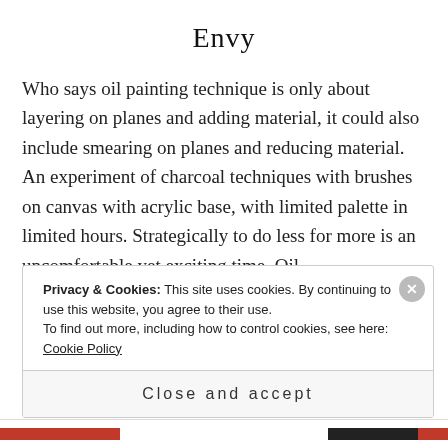Envy
Who says oil painting technique is only about layering on planes and adding material, it could also include smearing on planes and reducing material. An experiment of charcoal techniques with brushes on canvas with acrylic base, with limited palette in limited hours. Strategically to do less for more is an uncomfortable yet exciting time. Oil...
Privacy & Cookies: This site uses cookies. By continuing to use this website, you agree to their use.
To find out more, including how to control cookies, see here: Cookie Policy
Close and accept